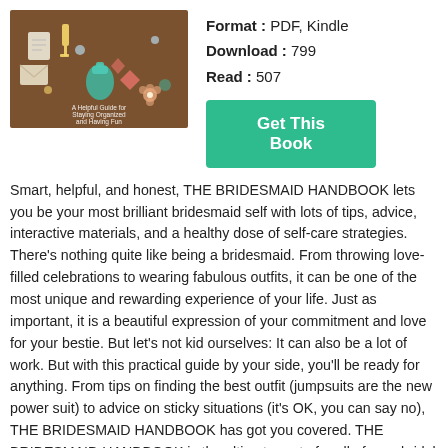[Figure (illustration): Book cover for The Bridesmaid Handbook on a brown background with illustrated items like envelopes, flowers, and party items. Text reads 'A Helpful Guide for Staying Organized and Having Fun'.]
Format : PDF, Kindle
Download : 799
Read : 507
Get This Book
Smart, helpful, and honest, THE BRIDESMAID HANDBOOK lets you be your most brilliant bridesmaid self with lots of tips, advice, interactive materials, and a healthy dose of self-care strategies. There's nothing quite like being a bridesmaid. From throwing love-filled celebrations to wearing fabulous outfits, it can be one of the most unique and rewarding experience of your life. Just as important, it is a beautiful expression of your commitment and love for your bestie. But let's not kid ourselves: It can also be a lot of work. But with this practical guide by your side, you'll be ready for anything. From tips on finding the best outfit (jumpsuits are the new power suit) to advice on sticky situations (it's OK, you can say no), THE BRIDESMAID HANDBOOK has got you covered. THE BRIDESMAID HANDBOOK is the ultimate go-to for all of your bridal party needs, including: • A Bridesmaid Bill of Rights (#2: You have the